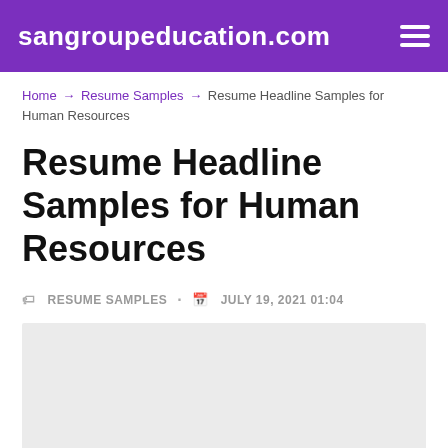sangroupeducation.com
Home › Resume Samples › Resume Headline Samples for Human Resources
Resume Headline Samples for Human Resources
RESUME SAMPLES  •  JULY 19, 2021 01:04
[Figure (other): Gray placeholder image area]